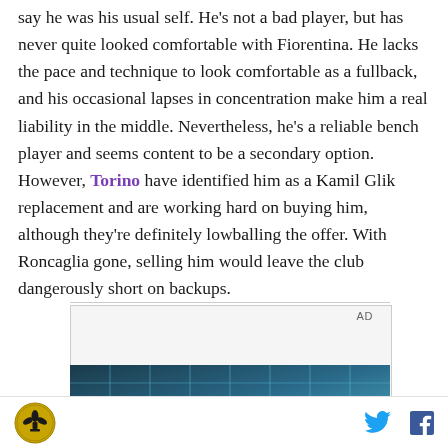say he was his usual self. He's not a bad player, but has never quite looked comfortable with Fiorentina. He lacks the pace and technique to look comfortable as a fullback, and his occasional lapses in concentration make him a real liability in the middle. Nevertheless, he's a reliable bench player and seems content to be a secondary option. However, Torino have identified him as a Kamil Glik replacement and are working hard on buying him, although they're definitely lowballing the offer. With Roncaglia gone, selling him would leave the club dangerously short on backups.
[Figure (other): Advertisement area with AD label and a partial image of a building with glass facade]
Footer with site logo (fleur-de-lis), Twitter icon, and Facebook icon